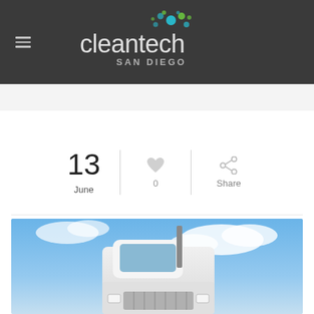cleantech SAN DIEGO
13
June
0
Share
[Figure (photo): White semi-truck cab photographed from a low angle against a blue sky with clouds]